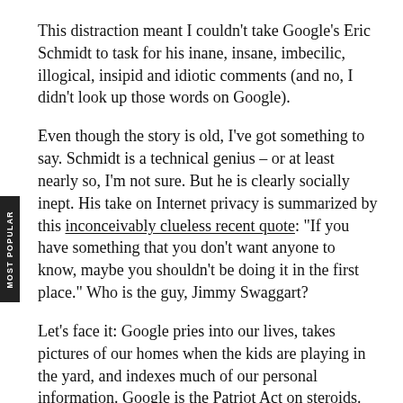This distraction meant I couldn't take Google's Eric Schmidt to task for his inane, insane, imbecilic, illogical, insipid and idiotic comments (and no, I didn't look up those words on Google).
Even though the story is old, I've got something to say. Schmidt is a technical genius – or at least nearly so, I'm not sure. But he is clearly socially inept. His take on Internet privacy is summarized by this inconceivably clueless recent quote: "If you have something that you don't want anyone to know, maybe you shouldn't be doing it in the first place." Who is the guy, Jimmy Swaggart?
Let's face it: Google pries into our lives, takes pictures of our homes when the kids are playing in the yard, and indexes much of our personal information. Google is the Patriot Act on steroids. First, we're supposed to give up our privacy for